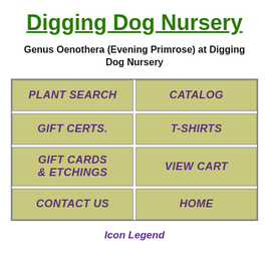Digging Dog Nursery
Genus Oenothera (Evening Primrose) at Digging Dog Nursery
[Figure (other): Navigation button grid with 8 buttons: PLANT SEARCH, CATALOG, GIFT CERTS., T-SHIRTS, GIFT CARDS & ETCHINGS, VIEW CART, CONTACT US, HOME]
Icon Legend